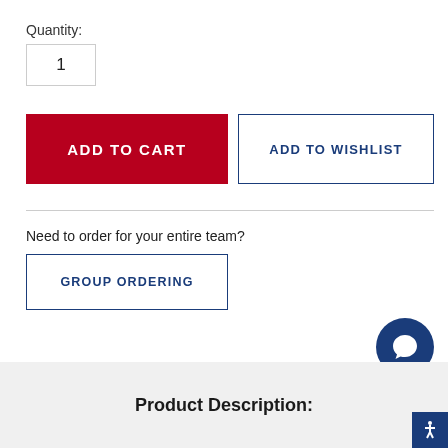Quantity:
1
ADD TO CART
ADD TO WISHLIST
Need to order for your entire team?
GROUP ORDERING
[Figure (illustration): Dark blue circular chat bubble icon button]
Product Description: